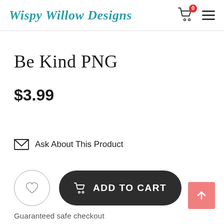Wispy Willow Designs
Be Kind PNG
$3.99
Ask About This Product
ADD TO CART
Guaranteed safe checkout